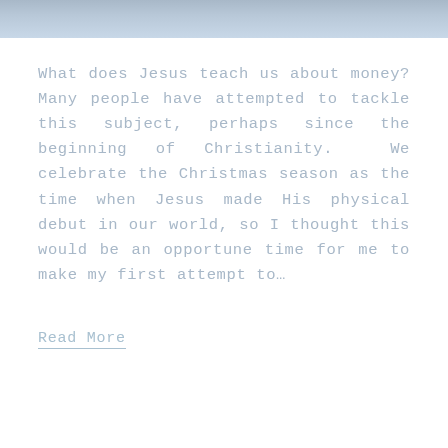[Figure (photo): A faded blue-toned photograph strip at the top of the page showing an outdoor scene]
What does Jesus teach us about money? Many people have attempted to tackle this subject, perhaps since the beginning of Christianity.  We celebrate the Christmas season as the time when Jesus made His physical debut in our world, so I thought this would be an opportune time for me to make my first attempt to…
Read More